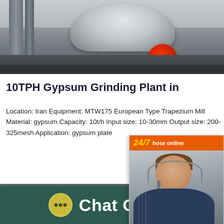[Figure (photo): Industrial grinding mill machinery photographed outdoors, showing large circular mill top and red flywheel, grey equipment against outdoor background]
10TPH Gypsum Grinding Plant in
Location: Iran Equipment: MTW175 European Type Trapezium Mill Material: gypsum Capacity: 10t/h Input size: 10-30mm Output size: 200-325mesh Application: gypsum plate
[Figure (photo): Industrial grinding plant interior showing large tank/silo equipment with red painted machinery in grey industrial facility]
[Figure (infographic): 24/7 hour online customer service widget showing woman with headset microphone, orange header with 24/7 label, Click to chat button, and Enquiry section]
Click to chat
Enquiry
Chat Online